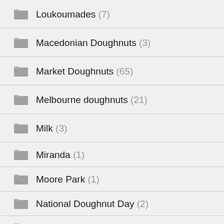Loukoumades (7)
Macedonian Doughnuts (3)
Market Doughnuts (65)
Melbourne doughnuts (21)
Milk (3)
Miranda (1)
Moore Park (1)
National Doughnut Day (2)
New Zealand (16)
Noo... (1)